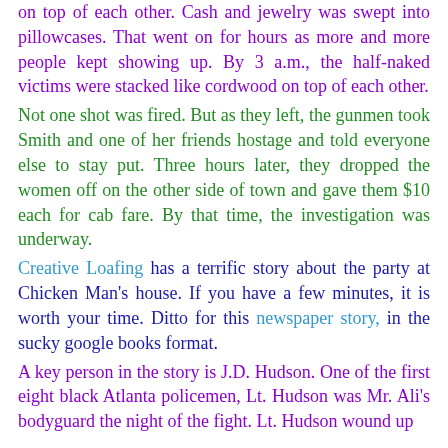on top of each other. Cash and jewelry was swept into pillowcases. That went on for hours as more and more people kept showing up. By 3 a.m., the half-naked victims were stacked like cordwood on top of each other.
Not one shot was fired. But as they left, the gunmen took Smith and one of her friends hostage and told everyone else to stay put. Three hours later, they dropped the women off on the other side of town and gave them $10 each for cab fare. By that time, the investigation was underway.
Creative Loafing has a terrific story about the party at Chicken Man's house. If you have a few minutes, it is worth your time. Ditto for this newspaper story, in the sucky google books format.
A key person in the story is J.D. Hudson. One of the first eight black Atlanta policemen, Lt. Hudson was Mr. Ali's bodyguard the night of the fight. Lt. Hudson wound up